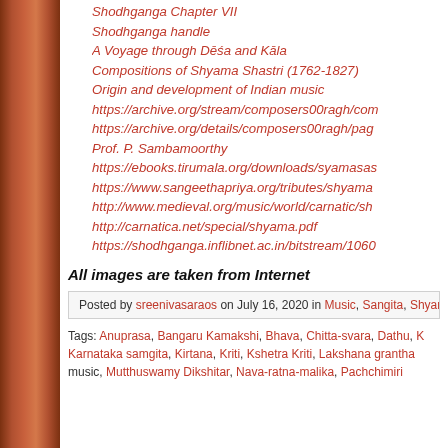Shodhganga Chapter VII
Shodhganga handle
A Voyage through Dēśa and Kāla
Compositions of Shyama Shastri (1762-1827)
Origin and development of Indian music
https://archive.org/stream/composers00ragh/com...
https://archive.org/details/composers00ragh/pag...
Prof. P. Sambamoorthy
https://ebooks.tirumala.org/downloads/syamasas...
https://www.sangeethapriya.org/tributes/shyama...
http://www.medieval.org/music/world/carnatic/sh...
http://carnatica.net/special/shyama.pdf
https://shodhganga.inflibnet.ac.in/bitstream/1060...
All images are taken from Internet
Posted by sreenivasaraos on July 16, 2020 in Music, Sangita, Shyam...
Tags: Anuprasa, Bangaru Kamakshi, Bhava, Chitta-svara, Dathu, Karnataka samgita, Kirtana, Kriti, Kshetra Kriti, Lakshana grantha, music, Mutthuswamy Dikshitar, Nava-ratna-malika, Pachchimiri...